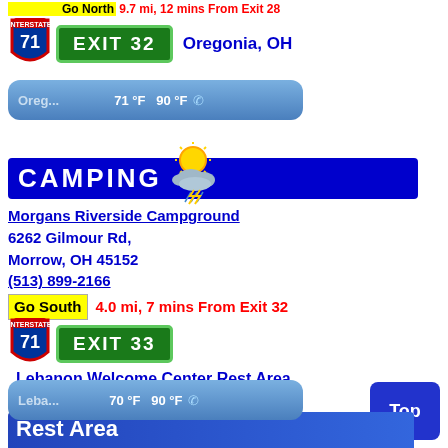Go North  9.7 mi, 12 mins From Exit 28
[Figure (infographic): Interstate 71 shield with Exit 32 green sign and Oregonia, OH city label]
[Figure (infographic): Weather bar showing Oreg... 71°F 90°F with partly cloudy thunderstorm icon]
CAMPING
Morgans Riverside Campground
6262 Gilmour Rd,
Morrow, OH 45152
(513) 899-2166
Go South  4.0 mi, 7 mins From Exit 32
[Figure (infographic): Interstate 71 shield with Exit 33 green sign and Lebanon Welcome Center Rest Area label]
[Figure (infographic): Weather bar showing Leba... 70°F 90°F with partly cloudy thunderstorm icon]
Rest Area